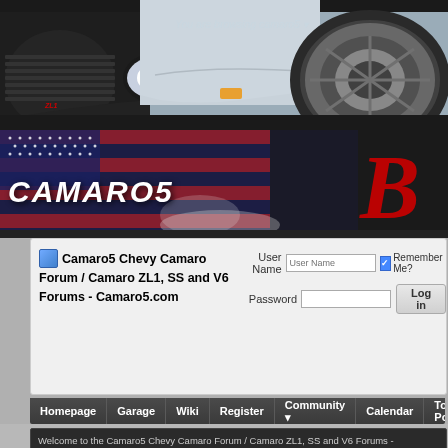[Figure (screenshot): Car banner showing a silver Chevrolet Camaro ZL1 with grille, headlight, and wheel visible against a dark background]
You are browsing camaro5
[Figure (logo): Camaro5 forum logo banner with American flag background, white CAMARO5 text, and partial B logo on right]
Camaro5 Chevy Camaro Forum / Camaro ZL1, SS and V6 Forums - Camaro5.com
User Name
Password
Remember Me?
Homepage  Garage  Wiki  Register  Community  Calendar  Today's Po
Welcome to the Camaro5 Chevy Camaro Forum / Camaro ZL1, SS and V6 Forums - Camaro5.com.